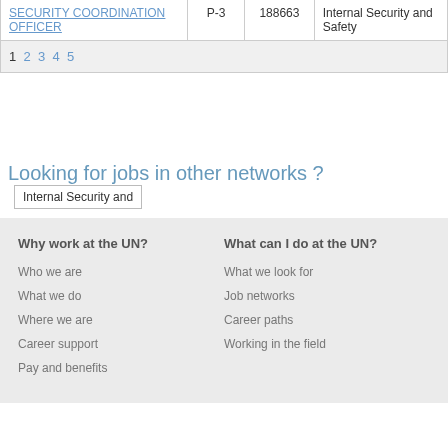|  | Grade | Job Opening ID | Network |
| --- | --- | --- | --- |
| SECURITY COORDINATION OFFICER | P-3 | 188663 | Internal Security and Safety |
1 2 3 4 5
Looking for jobs in other networks ?  Internal Security and
Why work at the UN?
Who we are
What we do
Where we are
Career support
Pay and benefits
What can I do at the UN?
What we look for
Job networks
Career paths
Working in the field